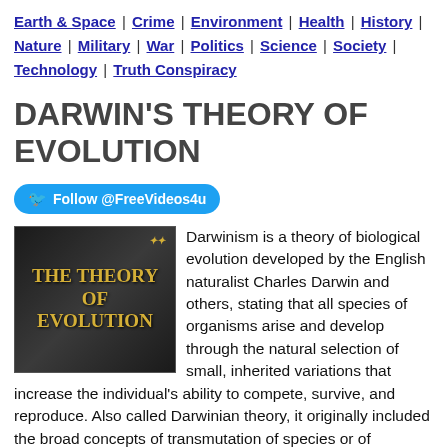Earth & Space | Crime | Environment | Health | History | Nature | Military | War | Politics | Science | Society | Technology | Truth Conspiracy
DARWIN'S THEORY OF EVOLUTION
[Figure (photo): Book/video cover image with dark background showing text 'THE THEORY OF EVOLUTION' in gold/yellow letters]
Darwinism is a theory of biological evolution developed by the English naturalist Charles Darwin and others, stating that all species of organisms arise and develop through the natural selection of small, inherited variations that increase the individual's ability to compete, survive, and reproduce. Also called Darwinian theory, it originally included the broad concepts of transmutation of species or of evolution which gained general scientific acceptance after Darwin published On the Origin of Species in 1859, including